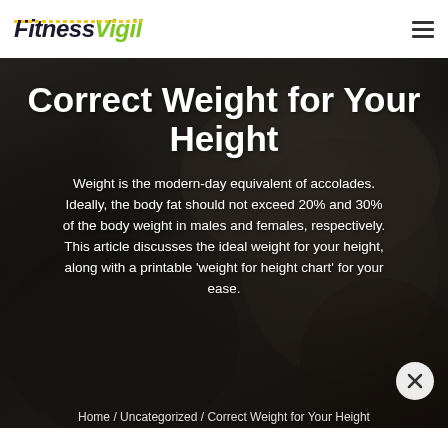FitnessVigil
[Figure (photo): Dark athletic photo background showing hands tying athletic shoes, used as hero banner background]
Correct Weight for Your Height
Weight is the modern-day equivalent of accolades. Ideally, the body fat should not exceed 20% and 30% of the body weight in males and females, respectively. This article discusses the ideal weight for your height, along with a printable 'weight for height chart' for your ease.
Home / Uncategorized / Correct Weight for Your Height